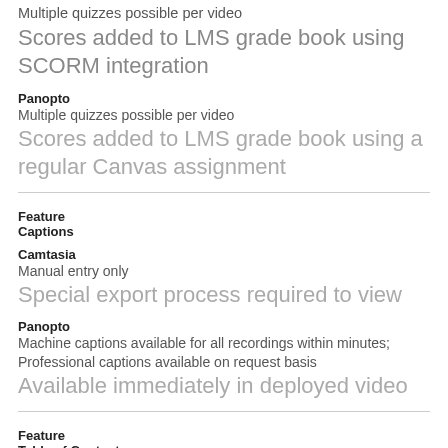Multiple quizzes possible per video
Scores added to LMS grade book using SCORM integration
Panopto
Multiple quizzes possible per video
Scores added to LMS grade book using a regular Canvas assignment
Feature
Captions
Camtasia
Manual entry only
Special export process required to view
Panopto
Machine captions available for all recordings within minutes; Professional captions available on request basis
Available immediately in deployed video
Feature
Table of Contents
Camtasia
Can be created in editor